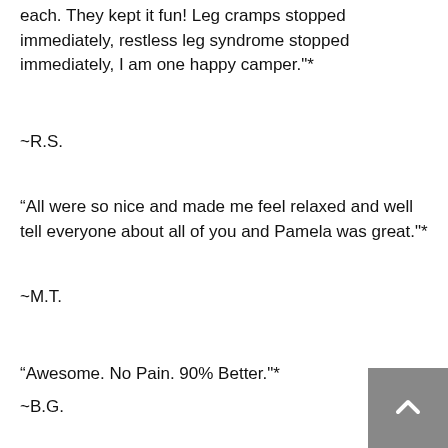each. They kept it fun! Leg cramps stopped immediately, restless leg syndrome stopped immediately, I am one happy camper."*
~R.S.
"All were so nice and made me feel relaxed and well tell everyone about all of you and Pamela was great."*
~M.T.
"Awesome. No Pain. 90% Better."*
~B.G.